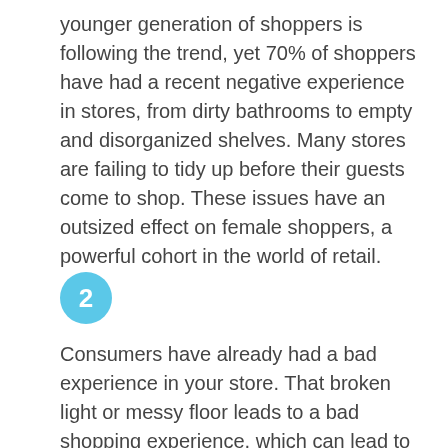younger generation of shoppers is following the trend, yet 70% of shoppers have had a recent negative experience in stores, from dirty bathrooms to empty and disorganized shelves. Many stores are failing to tidy up before their guests come to shop. These issues have an outsized effect on female shoppers, a powerful cohort in the world of retail.
2
Consumers have already had a bad experience in your store. That broken light or messy floor leads to a bad shopping experience, which can lead to a